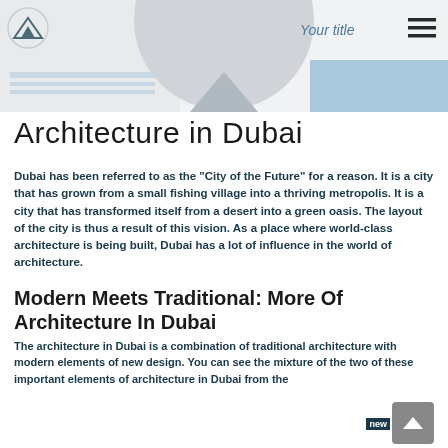Your title
Architecture in Dubai
Dubai has been referred to as the “City of the Future” for a reason. It is a city that has grown from a small fishing village into a thriving metropolis. It is a city that has transformed itself from a desert into a green oasis. The layout of the city is thus a result of this vision. As a place where world-class architecture is being built, Dubai has a lot of influence in the world of architecture.
Modern Meets Traditional: More Of Architecture In Dubai
The architecture in Dubai is a combination of traditional architecture with modern elements of new design. You can see the mixture of the two of these important elements of architecture in Dubai from the